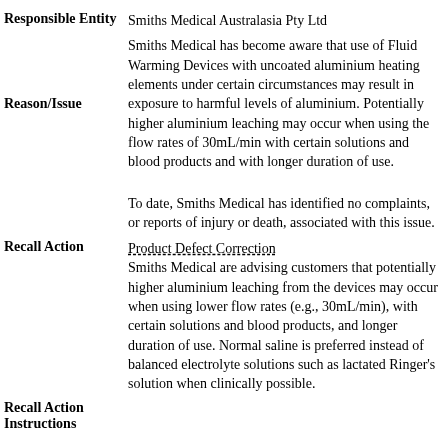| Responsible Entity | Smiths Medical Australasia Pty Ltd |
| Reason/Issue | Smiths Medical has become aware that use of Fluid Warming Devices with uncoated aluminium heating elements under certain circumstances may result in exposure to harmful levels of aluminium. Potentially higher aluminium leaching may occur when using the flow rates of 30mL/min with certain solutions and blood products and with longer duration of use.

To date, Smiths Medical has identified no complaints, or reports of injury or death, associated with this issue. |
| Recall Action | Product Defect Correction
Smiths Medical are advising customers that potentially higher aluminium leaching from the devices may occur when using lower flow rates (e.g., 30mL/min), with certain solutions and blood products, and longer duration of use. Normal saline is preferred instead of balanced electrolyte solutions such as lactated Ringer's solution when clinically possible. |
| Recall Action Instructions |  |